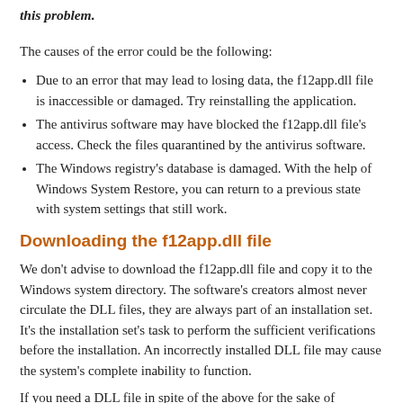this problem.
The causes of the error could be the following:
Due to an error that may lead to losing data, the f12app.dll file is inaccessible or damaged. Try reinstalling the application.
The antivirus software may have blocked the f12app.dll file's access. Check the files quarantined by the antivirus software.
The Windows registry's database is damaged. With the help of Windows System Restore, you can return to a previous state with system settings that still work.
Downloading the f12app.dll file
We don't advise to download the f12app.dll file and copy it to the Windows system directory. The software's creators almost never circulate the DLL files, they are always part of an installation set. It's the installation set's task to perform the sufficient verifications before the installation. An incorrectly installed DLL file may cause the system's complete inability to function.
If you need a DLL file in spite of the above for the sake of